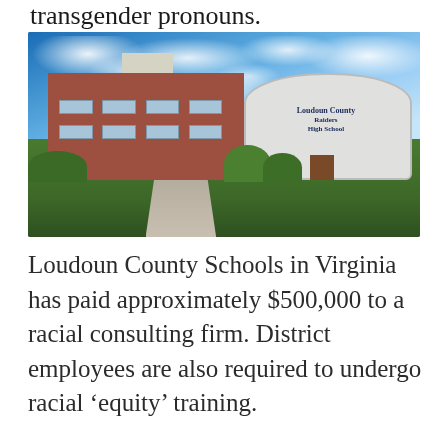transgender pronouns.
[Figure (photo): Photograph of Loudoun County Raiders High School building with a brick facade, white cupola, American and Virginia flags, landscaped gardens, and entrance sign reading 'Loudoun County Raiders High School' against a blue cloudy sky.]
Loudoun County Schools in Virginia has paid approximately $500,000 to a racial consulting firm. District employees are also required to undergo racial 'equity' training.